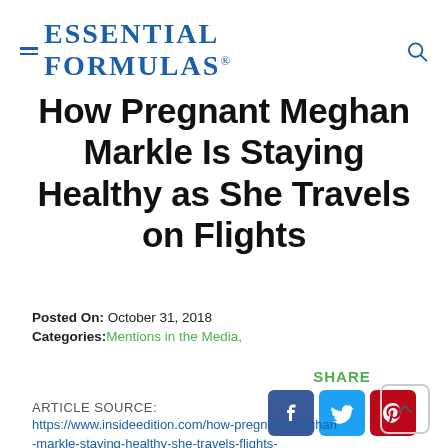Essential Formulas
How Pregnant Meghan Markle Is Staying Healthy as She Travels on Flights
Posted On: October 31, 2018
Categories: Mentions in the Media,
SHARE
ARTICLE SOURCE:
https://www.insideedition.com/how-pregnant-meghan-markle-staying-healthy-she-travels-flights-